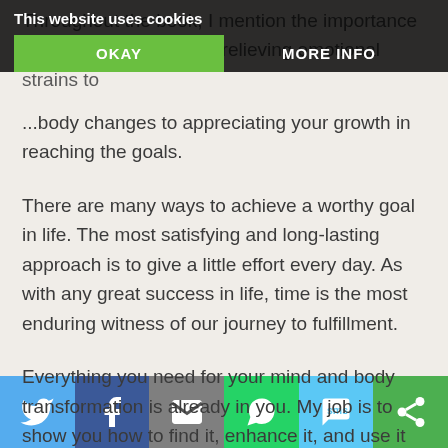Throughout the book, I mention the importance of self-monitoring, from relieving emotional strains to ...body changes to appreciating your growth in reaching the goals.
There are many ways to achieve a worthy goal in life. The most satisfying and long-lasting approach is to give a little effort every day. As with any great success in life, time is the most enduring witness of our journey to fulfillment.
Everything you need for your mind and body transformation is already in you. My job is to show you how to find it, enhance it, and use it to create your best life.
[Figure (screenshot): Cookie consent banner overlay with 'This website uses cookies' text and two buttons: OKAY (green) and MORE INFO]